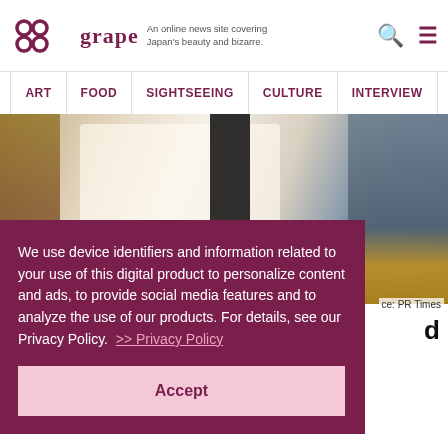grape — An online news site covering Japan's beauty and bizarre.
ART | FOOD | SIGHTSEEING | CULTURE | INTERVIEW
[Figure (photo): A person in a floral kimono sitting in a Japanese-style room with bookshelves, with someone in grey clothing visible on the right.]
We use device identifiers and information related to your use of this digital product to personalize content and ads, to provide social media features and to analyze the use of our products. For details, see our Privacy Policy.  >> Privacy Policy
Accept
ce: PR Times